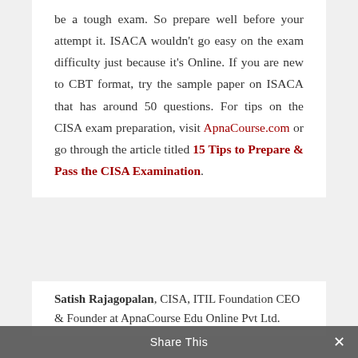be a tough exam. So prepare well before your attempt it. ISACA wouldn't go easy on the exam difficulty just because it's Online. If you are new to CBT format, try the sample paper on ISACA that has around 50 questions. For tips on the CISA exam preparation, visit ApnaCourse.com or go through the article titled 15 Tips to Prepare & Pass the CISA Examination.
Satish Rajagopalan, CISA, ITIL Foundation CEO & Founder at ApnaCourse Edu Online Pvt Ltd.
Share This